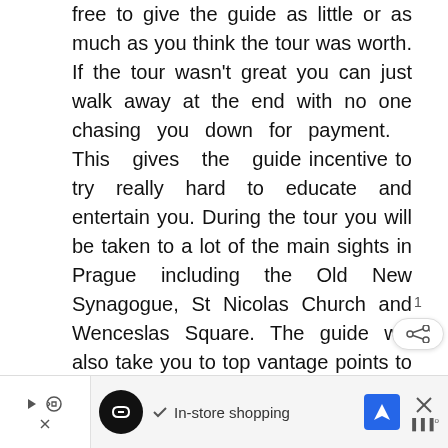free to give the guide as little or as much as you think the tour was worth. If the tour wasn't great you can just walk away at the end with no one chasing you down for payment. This gives the guide incentive to try really hard to educate and entertain you. During the tour you will be taken to a lot of the main sights in Prague including the Old New Synagogue, St Nicolas Church and Wenceslas Square. The guide will also take you to top vantage points to view Prague Castle and Charles Bridge away from the crowds.
[Figure (other): Teal circular heart/like button FAB, share button, and count label]
[Figure (other): Advertisement bar: play/skip controls, infinity loop icon, checkmark, 'In-store shopping' text, blue navigation arrow icon, close X button, weather icon]